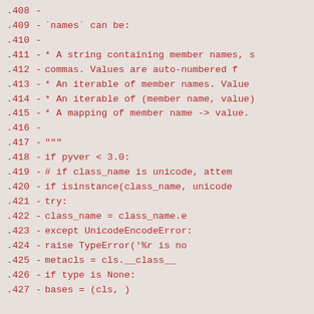Code diff showing lines 408-427 of a Python source file
.408 -
.409 -         `names` can be:
.410 -
.411 -         * A string containing member names, s
.412 -           commas.  Values are auto-numbered f
.413 -         * An iterable of member names.  Value
.414 -         * An iterable of (member name, value)
.415 -         * A mapping of member name -> value.
.416 -
.417 -         """
.418 -         if pyver < 3.0:
.419 -             # if class_name is unicode, attem
.420 -             if isinstance(class_name, unicode
.421 -                 try:
.422 -                     class_name = class_name.e
.423 -                 except UnicodeEncodeError:
.424 -                     raise TypeError('%r is no
.425 -         metacls = cls.__class__
.426 -         if type is None:
.427 -             bases = (cls, )